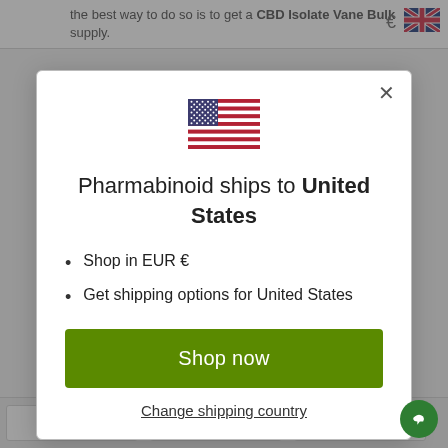the best way to do so is to get a CBD Isolate Vane Bulk supply.
[Figure (illustration): US flag emoji/icon centered in modal]
Pharmabinoid ships to United States
Shop in EUR €
Get shipping options for United States
Shop now
Change shipping country